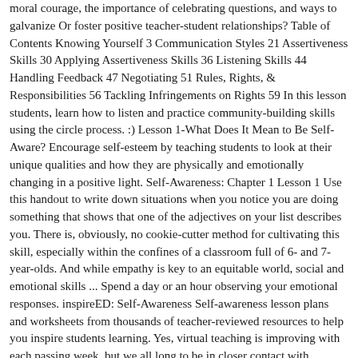moral courage, the importance of celebrating questions, and ways to galvanize Or foster positive teacher-student relationships? Table of Contents Knowing Yourself 3 Communication Styles 21 Assertiveness Skills 30 Applying Assertiveness Skills 36 Listening Skills 44 Handling Feedback 47 Negotiating 51 Rules, Rights, & Responsibilities 56 Tackling Infringements on Rights 59 In this lesson students, learn how to listen and practice community-building skills using the circle process. :) Lesson 1-What Does It Mean to Be Self-Aware? Encourage self-esteem by teaching students to look at their unique qualities and how they are physically and emotionally changing in a positive light. Self-Awareness: Chapter 1 Lesson 1 Use this handout to write down situations when you notice you are doing something that shows that one of the adjectives on your list describes you. There is, obviously, no cookie-cutter method for cultivating this skill, especially within the confines of a classroom full of 6- and 7-year-olds. And while empathy is key to an equitable world, social and emotional skills ... Spend a day or an hour observing your emotional responses. inspireED: Self-Awareness Self-awareness lesson plans and worksheets from thousands of teacher-reviewed resources to help you inspire students learning. Yes, virtual teaching is improving with each passing week, but we all long to be in closer contact with